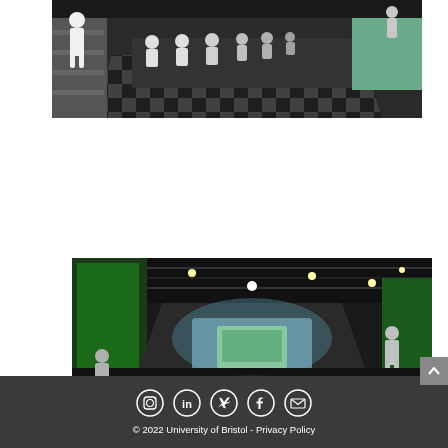[Figure (illustration): Interior rendering of a cinema/lecture theatre with white silhouette figures seated in rows, checkered dark floor, large screen on the right wall, dark walls and ceiling.]
[Figure (illustration): Interior rendering of a TV/film production studio with green screen walls, overhead lighting rig, a central illuminated stage area, and white silhouette figures of people, dark industrial ceiling.]
[Figure (illustration): Footer section with social media icons (Instagram, LinkedIn, Twitter, Facebook, Email) in white circles on dark background, with copyright text '© 2022 University of Bristol - Privacy Policy'.]